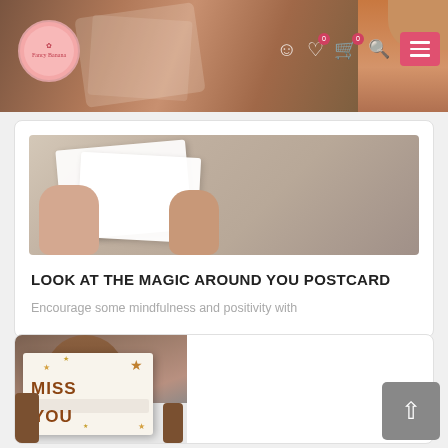Website navigation bar with logo and icons
[Figure (photo): Hands holding white envelopes/cards against a brown background]
LOOK AT THE MAGIC AROUND YOU POSTCARD
Encourage some mindfulness and positivity with
[Figure (photo): Person holding a 'MISS YOU' card with gold stars]